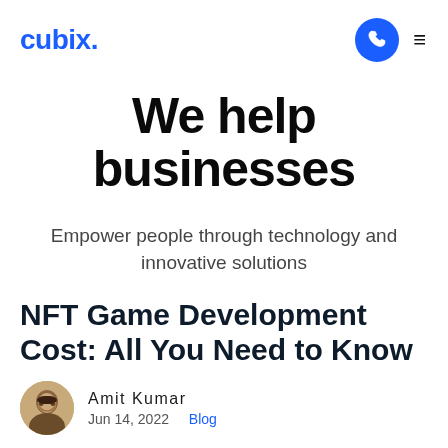cubix.
We help businesses
Empower people through technology and innovative solutions
NFT Game Development Cost: All You Need to Know
Amit Kumar
Jun 14, 2022  Blog
[Figure (photo): Dark background image at the bottom of the page, appears to be a gaming or NFT themed visual]